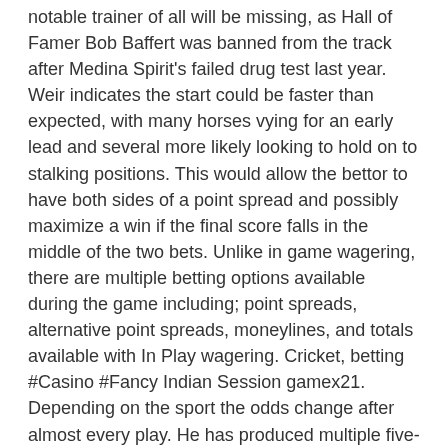notable trainer of all will be missing, as Hall of Famer Bob Baffert was banned from the track after Medina Spirit's failed drug test last year. Weir indicates the start could be faster than expected, with many horses vying for an early lead and several more likely looking to hold on to stalking positions. This would allow the bettor to have both sides of a point spread and possibly maximize a win if the final score falls in the middle of the two bets. Unlike in game wagering, there are multiple betting options available during the game including; point spreads, alternative point spreads, moneylines, and totals available with In Play wagering. Cricket, betting #Casino #Fancy Indian Session gamex21. Depending on the sport the odds change after almost every play. He has produced multiple five-figure days at the track over the years, including a 60,000 Pick 6 at Del Mar in 2014. Odds change after almost every play or possession throughout the game.
However, bonus levels are tiered for different types of wagering. The minimum wager online is 1 and 50 for mobile bets. In-play betting should see a big increase once every